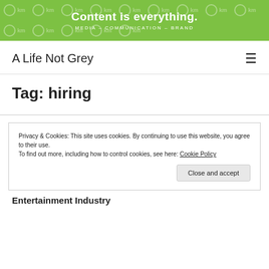[Figure (logo): Green banner with watermark pattern of 'km' text and circles, and centered bold white text 'Content is everything.' with subtitle 'MEDIA – COMMUNICATION – BRAND']
A Life Not Grey
Tag: hiring
Privacy & Cookies: This site uses cookies. By continuing to use this website, you agree to their use.
To find out more, including how to control cookies, see here: Cookie Policy
Entertainment Industry